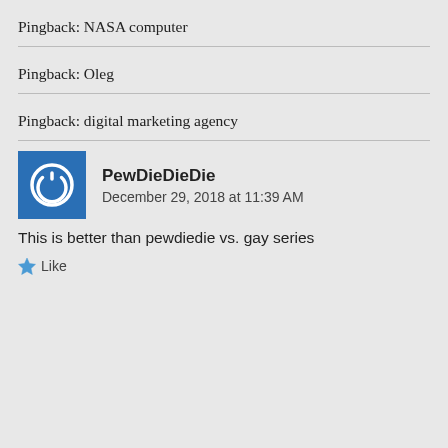Pingback: NASA computer
Pingback: Oleg
Pingback: digital marketing agency
PewDieDieDie
December 29, 2018 at 11:39 AM
This is better than pewdiedie vs. gay series
Like